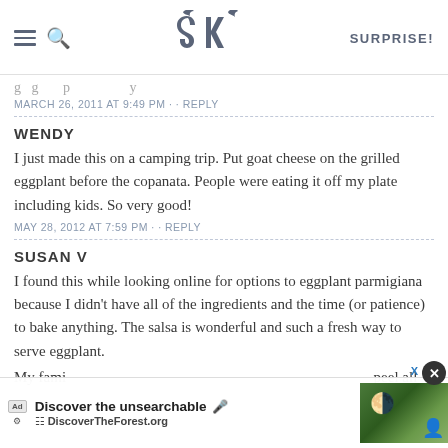SK — SURPRISE!
[truncated comment line]
MARCH 26, 2011 AT 9:49 PM · · REPLY
WENDY
I just made this on a camping trip. Put goat cheese on the grilled eggplant before the copanata. People were eating it off my plate including kids. So very good!
MAY 28, 2012 AT 7:59 PM · · REPLY
SUSAN V
I found this while looking online for options to eggplant parmigiana because I didn't have all of the ingredients and the time (or patience) to bake anything. The salsa is wonderful and such a fresh way to serve eggplant.
My fami... peel all of the...
[Figure (screenshot): Advertisement overlay: Discover the unsearchable — DiscoverTheForest.org with forest background image and close button]